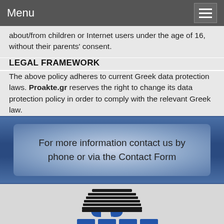Menu
about/from children or Internet users under the age of 16, without their parents' consent.
LEGAL FRAMEWORK
The above policy adheres to current Greek data protection laws. Proakte.gr reserves the right to change its data protection policy in order to comply with the relevant Greek law.
For more information contact us by phone or via the Contact Form
[Figure (logo): Proakte.gr company logo: building/structure icon in black and blue above blue letter blocks]